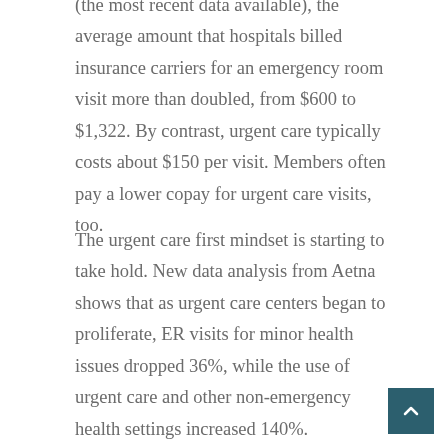(the most recent data available), the average amount that hospitals billed insurance carriers for an emergency room visit more than doubled, from $600 to $1,322. By contrast, urgent care typically costs about $150 per visit. Members often pay a lower copay for urgent care visits, too.
The urgent care first mindset is starting to take hold. New data analysis from Aetna shows that as urgent care centers began to proliferate, ER visits for minor health issues dropped 36%, while the use of urgent care and other non-emergency health settings increased 140%.
However, the same study shows that plans only saw a decrease in ER visits if there were